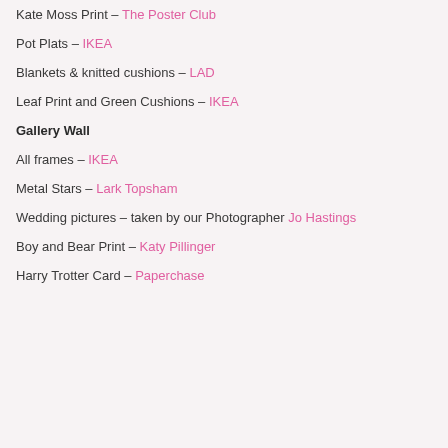Kate Moss Print – The Poster Club
Pot Plats – IKEA
Blankets & knitted cushions – LAD
Leaf Print and Green Cushions – IKEA
Gallery Wall
All frames – IKEA
Metal Stars – Lark Topsham
Wedding pictures – taken by our Photographer Jo Hastings
Boy and Bear Print – Katy Pillinger
Harry Trotter Card – Paperchase